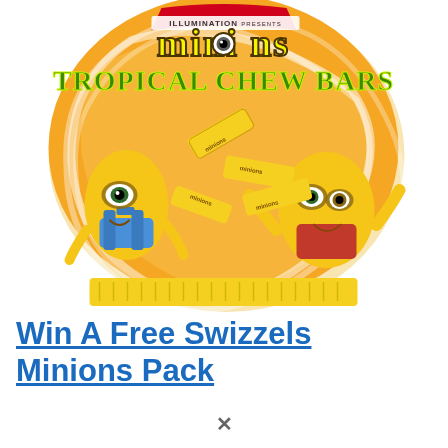[Figure (photo): Bag of Swizzels Minions Tropical Chew Bars candy. Orange and white swirl bag featuring Minions characters. Text: ILLUMINATION PRESENTS minions TROPICAL CHEW BARS.]
Win A Free Swizzels Minions Pack